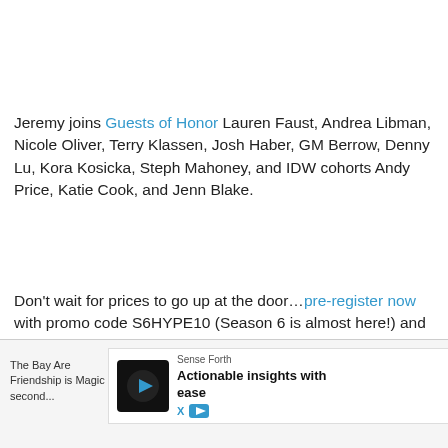Jeremy joins Guests of Honor Lauren Faust, Andrea Libman, Nicole Oliver, Terry Klassen, Josh Haber, GM Berrow, Denny Lu, Kora Kosicka, Steph Mahoney, and IDW cohorts Andy Price, Katie Cook, and Jenn Blake.
Don't wait for prices to go up at the door…pre-register now with promo code S6HYPE10 (Season 6 is almost here!) and get 10% off our normal pre-registration prices!
(Art by slifer the sky dragon)
The Bay Area... ...tle Pony: Friendship is Magic in the San Francisco Bay Area. In our first year, we became the second...